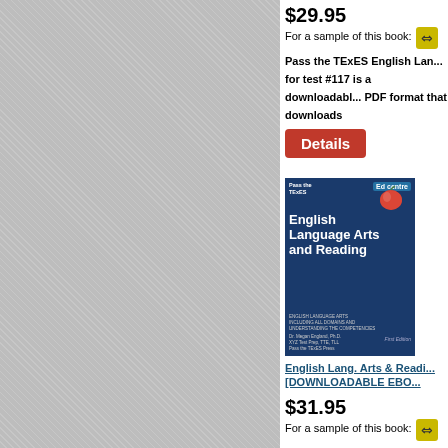$29.95
For a sample of this book:
Pass the TExES English Language Arts for test #117 is a downloadable PDF format that downloads
[Figure (other): Red Details button]
[Figure (illustration): Book cover: English Language Arts and Reading, Pass the TExES series, blue cover with apple image, First Edition]
English Lang. Arts & Reading [DOWNLOADABLE EBOOK]
$31.95
For a sample of this book:
NEW! Pass the TExES English...